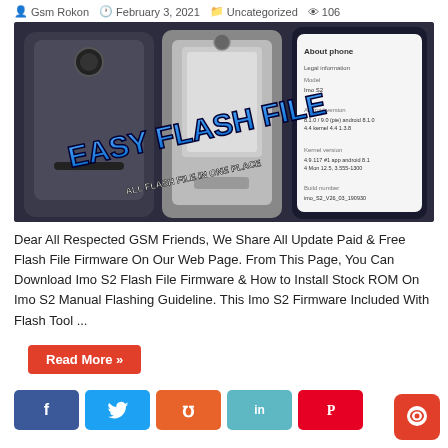Gsm Rokon  February 3, 2021  Uncategorized  106
[Figure (photo): Three Imo S2 smartphones shown from back and front, with 'EASY FLASH FILE - ALL FLASH FILE IN ONE PLACE' text overlay in blue metallic 3D font]
Dear All Respected GSM Friends, We Share All Update Paid & Free Flash File Firmware On Our Web Page. From This Page, You Can Download Imo S2 Flash File Firmware & How to Install Stock ROM On Imo S2 Manual Flashing Guideline. This Imo S2 Firmware Included With Flash Tool ...
Read More »
[Figure (infographic): Social sharing buttons: Facebook (blue), Twitter (light blue), StumbleUpon (orange), LinkedIn (teal), Pinterest (red), and a red chat/messenger floating button]